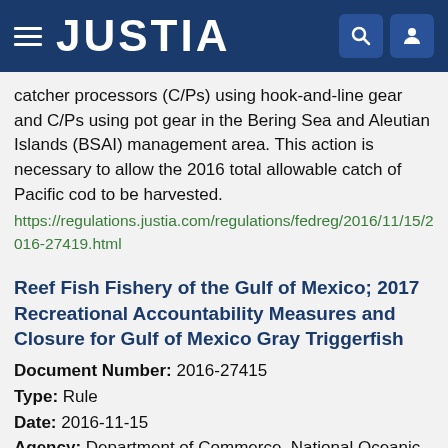JUSTIA
catcher processors (C/Ps) using hook-and-line gear and C/Ps using pot gear in the Bering Sea and Aleutian Islands (BSAI) management area. This action is necessary to allow the 2016 total allowable catch of Pacific cod to be harvested.
https://regulations.justia.com/regulations/fedreg/2016/11/15/2016-27419.html
Reef Fish Fishery of the Gulf of Mexico; 2017 Recreational Accountability Measures and Closure for Gulf of Mexico Gray Triggerfish
Document Number: 2016-27415
Type: Rule
Date: 2016-11-15
Agency: Department of Commerce, National Oceanic and Atmospheric Administration